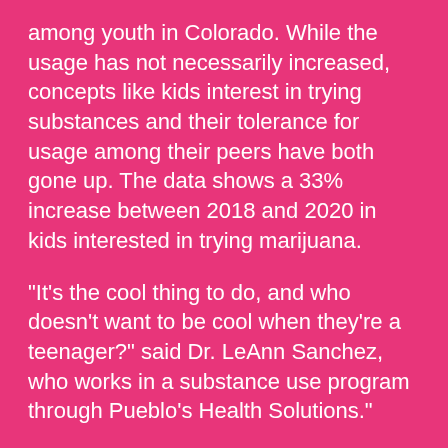among youth in Colorado. While the usage has not necessarily increased, concepts like kids interest in trying substances and their tolerance for usage among their peers have both gone up. The data shows a 33% increase between 2018 and 2020 in kids interested in trying marijuana.
“It’s the cool thing to do, and who doesn’t want to be cool when they’re a teenager?” said Dr. LeAnn Sanchez, who works in a substance use program through Pueblo’s Health Solutions.”
Sanchez confirms that she’s seen an increase in younger patients coming to see her, who started off using a variety of substances – alcohol, opioids, and especially tobacco.
“I even had little kids as young as fourth graders using